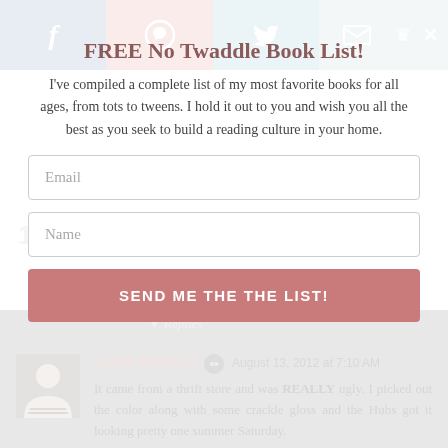[Figure (screenshot): Social media sharing bar with Facebook, Pinterest, Twitter, and email icons at the top]
FREE No Twaddle Book List!
I've compiled a complete list of my most favorite books for all ages, from tots to tweens. I hold it out to you and wish you all the best as you seek to build a reading culture in your home.
Email
Name
SEND ME THE THE LIST!
14 COMMENTS:
Jamie Erickson  August 13, 2012 at 7:10 AM
It came from a thrift store and was REALLY ugly. I picked out the color along with some crackle gloss and the Hubs got it looking pretty one summer Saturday.